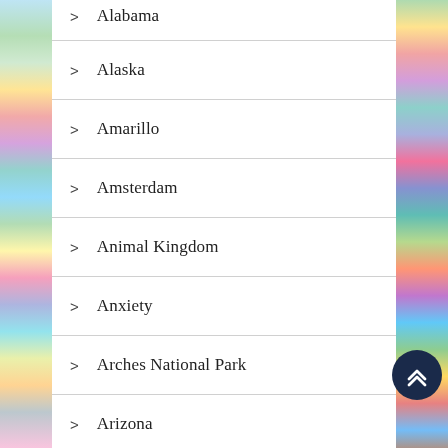Alabama
Alaska
Amarillo
Amsterdam
Animal Kingdom
Anxiety
Arches National Park
Arizona
Art
Art Noveau